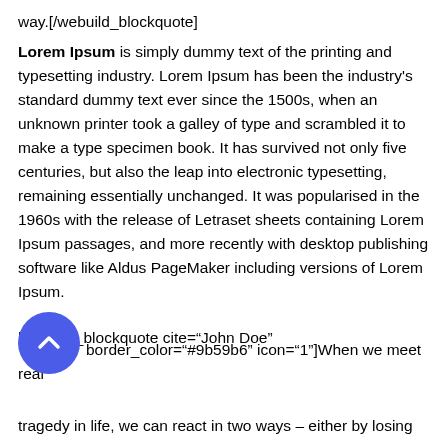way.[/webuild_blockquote]
Lorem Ipsum is simply dummy text of the printing and typesetting industry. Lorem Ipsum has been the industry's standard dummy text ever since the 1500s, when an unknown printer took a galley of type and scrambled it to make a type specimen book. It has survived not only five centuries, but also the leap into electronic typesetting, remaining essentially unchanged. It was popularised in the 1960s with the release of Letraset sheets containing Lorem Ipsum passages, and more recently with desktop publishing software like Aldus PageMaker including versions of Lorem Ipsum.
[webuild_blockquote cite="John Doe" border_color="#9b59b6" icon="1"]When we meet real tragedy in life, we can react in two ways – either by losing